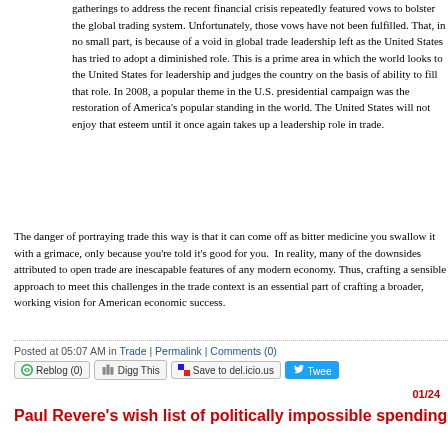gatherings to address the recent financial crisis repeatedly featured vows to bolster the global trading system. Unfortunately, those vows have not been fulfilled. That, in no small part, is because of a void in global trade leadership left as the United States has tried to adopt a diminished role. This is a prime area in which the world looks to the United States for leadership and judges the country on the basis of ability to fill that role. In 2008, a popular theme in the U.S. presidential campaign was the restoration of America's popular standing in the world. The United States will not enjoy that esteem until it once again takes up a leadership role in trade.
The danger of portraying trade this way is that it can come off as bitter medicine you swallow it with a grimace, only because you're told it's good for you. In reality, many of the downsides attributed to open trade are inescapable features of any modern economy. Thus, crafting a sensible approach to meet this challenges in the trade context is an essential part of crafting a broader, working vision for American economic success.
Posted at 05:07 AM in Trade | Permalink | Comments (0)
Reblog (0) | Digg This | Save to del.icio.us | Tweet
01/24
Paul Revere's wish list of politically impossible spending cuts that should be debated